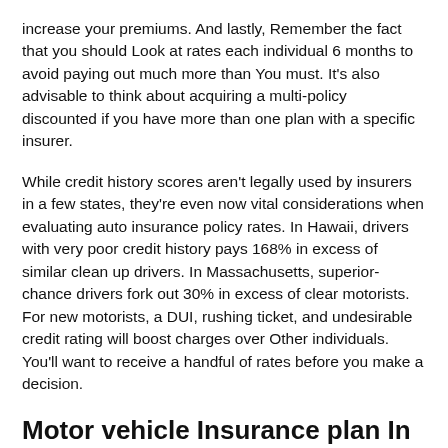increase your premiums. And lastly, Remember the fact that you should Look at rates each individual 6 months to avoid paying out much more than You must. It's also advisable to think about acquiring a multi-policy discounted if you have more than one plan with a specific insurer.
While credit history scores aren't legally used by insurers in a few states, they're even now vital considerations when evaluating auto insurance policy rates. In Hawaii, drivers with very poor credit history pays 168% in excess of similar clean up drivers. In Massachusetts, superior-chance drivers fork out 30% in excess of clear motorists. For new motorists, a DUI, rushing ticket, and undesirable credit rating will boost charges over Other individuals. You'll want to receive a handful of rates before you make a decision.
Motor vehicle Insurance plan In close proximity to Me – Components That Affect the Cost of Car Insurance